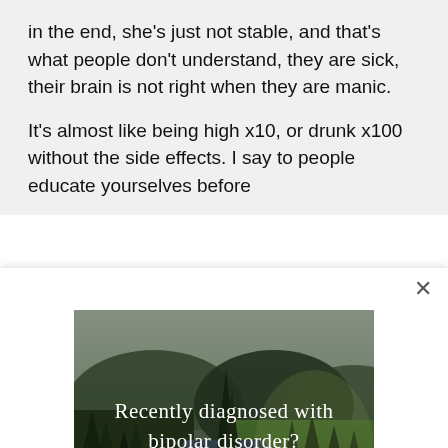in the end, she's just not stable, and that's what people don't understand, they are sick, their brain is not right when they are manic.
It's almost like being high x10, or drunk x100 without the side effects. I say to people educate yourselves before
[Figure (photo): Advertisement image showing a forest and river landscape with text 'Recently diagnosed with bipolar disorder? DOWNLOAD OUR FREE EBOOK NOW.']
advertisement